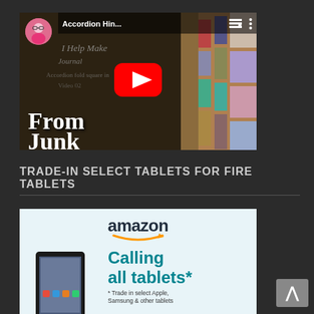[Figure (screenshot): YouTube video thumbnail showing 'Accordion Hin...' video with a play button, text 'From Junk' in lower left, crafts/journal imagery, and a circular avatar in top left corner.]
TRADE-IN SELECT TABLETS FOR FIRE TABLETS
[Figure (screenshot): Amazon advertisement with amazon logo, text 'Calling all tablets*', image of a Fire tablet, and footnote '* Trade in select Apple, Samsung & other tablets']